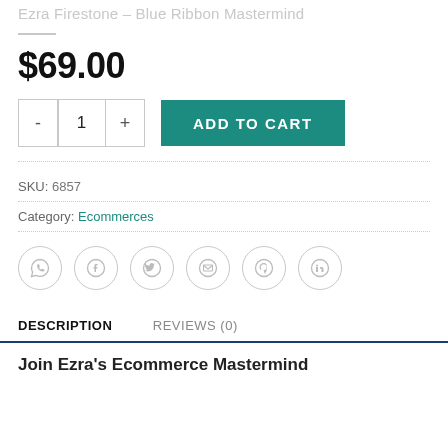Ezra Firestone – Blue Ribbon Mastermind
$69.00
- 1 + ADD TO CART
SKU: 6857
Category: Ecommerces
[Figure (infographic): Six social sharing icon circles: WhatsApp, Facebook, Twitter, Email, Pinterest, LinkedIn]
DESCRIPTION
REVIEWS (0)
Join Ezra's Ecommerce Mastermind